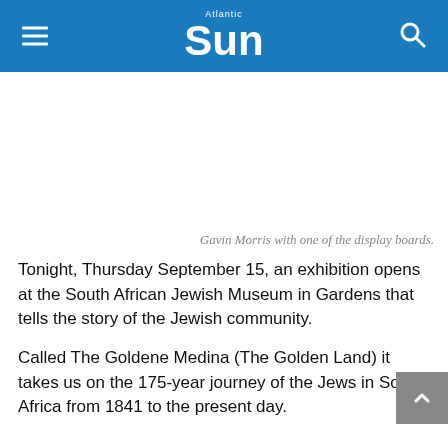Atlantic Sun
Gavin Morris with one of the display boards.
Tonight, Thursday September 15, an exhibition opens at the South African Jewish Museum in Gardens that tells the story of the Jewish community.
Called The Goldene Medina (The Golden Land) it takes us on the 175-year journey of the Jews in South Africa from 1841 to the present day.